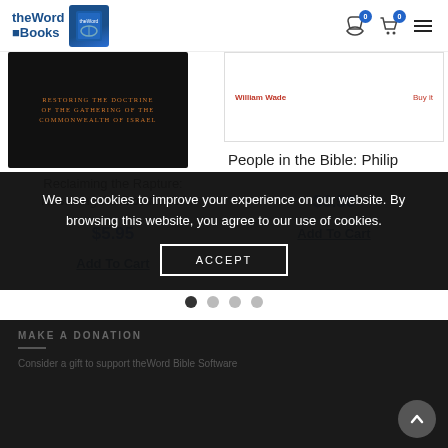theWord Books
[Figure (photo): Book cover: Reclaiming the Rapture - Restoring the Doctrine of the Gathering of the Commonwealth of Israel (dark cover with orange text)]
Reclaiming the Rapture: Restoring the Doctrine of
$5.95
Add To Cart
[Figure (photo): Book listing with author William Wade and Buy link in red]
People in the Bible: Philip
$6.50
Add To Cart
We use cookies to improve your experience on our website. By browsing this website, you agree to our use of cookies.
ACCEPT
MAKE A DONATION
Consider a gift to support theWord Bible Software